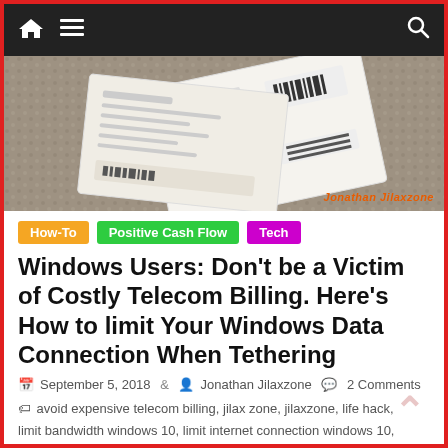Navigation bar with home, menu, and search icons
[Figure (photo): A phone bill/document on a carpet surface, with watermark text 'Jonathan Jilaxzone' in orange.]
How-To  Positive Cash Flow  Tech
Windows Users: Don't be a Victim of Costly Telecom Billing. Here's How to limit Your Windows Data Connection When Tethering
September 5, 2018  Jonathan Jilaxzone  2 Comments
avoid expensive telecom billing, jilax zone, jilaxzone, life hack, limit bandwidth windows 10, limit internet connection windows 10, windows 10 hack, windows 10 limit tethering, windows 10 metered connection, windows 10 tips and tricks